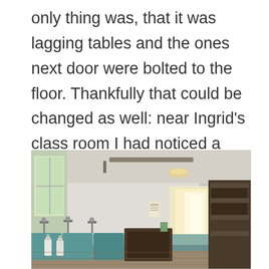only thing was, that it was lagging tables and the ones next door were bolted to the floor. Thankfully that could be changed as well: near Ingrid’s class room I had noticed a number of abandoned lab tables which were collecting dust in the staircase.
[Figure (photo): Interior photograph of a school laboratory or classroom with lab tables, stools, gas taps, a window on the left letting in light, white walls, a ceiling with a ventilation duct, and a bright doorway in the background on the right. Storage shelves are visible on the right side.]